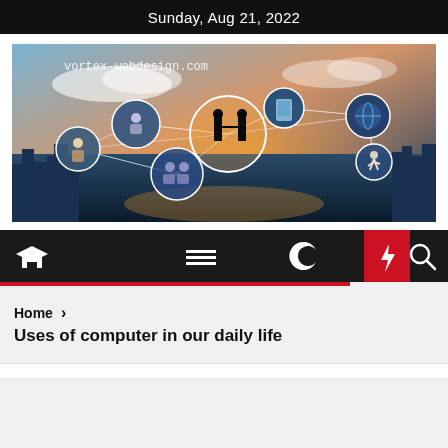Sunday, Aug 21, 2022
[Figure (illustration): Banner image for vortex-webdesign.com showing a digital global network visualization with circular icons connected by lines over a city skyline, featuring silhouettes of two people shaking hands in the center circle against a sunset background]
[Figure (infographic): Navigation bar with home icon, hamburger menu icon, moon/dark mode icon, lightning bolt icon on red background, and search/magnifying glass icon]
Home > Uses of computer in our daily life